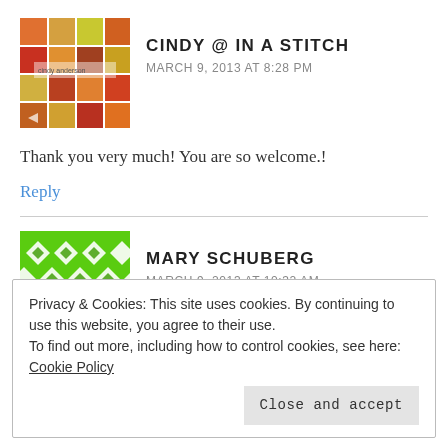[Figure (photo): Avatar image for Cindy @ In A Stitch, colorful quilt fabric squares]
CINDY @ IN A STITCH
MARCH 9, 2013 AT 8:28 PM
Thank you very much! You are so welcome.!
Reply
[Figure (illustration): Avatar image for Mary Schuberg, green and white geometric diamond pattern]
MARY SCHUBERG
MARCH 9, 2013 AT 10:32 AM
Privacy & Cookies: This site uses cookies. By continuing to use this website, you agree to their use.
To find out more, including how to control cookies, see here: Cookie Policy
Close and accept